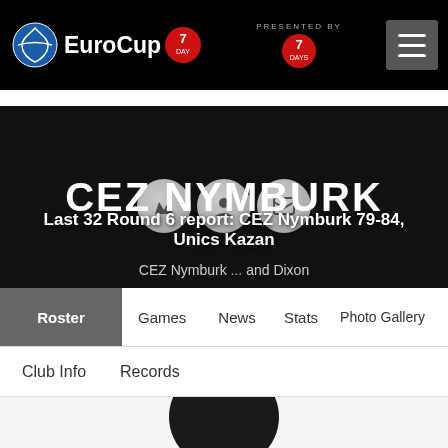EuroCup 7DAYS — presented by 7DAYS
CEZ NYMBURK
Last 32 Round 6 report: CEZ Nymburk 79-84, Unics Kazan
CEZ Nymburk ... and Dixon
Roster
Games
News
Stats
Photo Gallery
Club Info
Records
[Figure (photo): Silhouette player headshot photo placeholder]